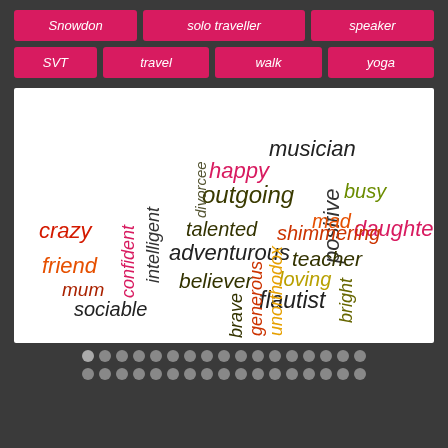Snowdon
solo traveller
speaker
SVT
travel
walk
yoga
[Figure (infographic): Word cloud on white background containing words: musician, happy, positive, outgoing, busy, mad, daughter, crazy, talented, shimmering, adventurous, teacher, intelligent, friend, confident, believer, loving, flautist, mum, sociable, brave, generous, unorthodox, bright, divorcee. Words appear in various colors including dark red/crimson, orange, olive/dark yellow, and dark charcoal.]